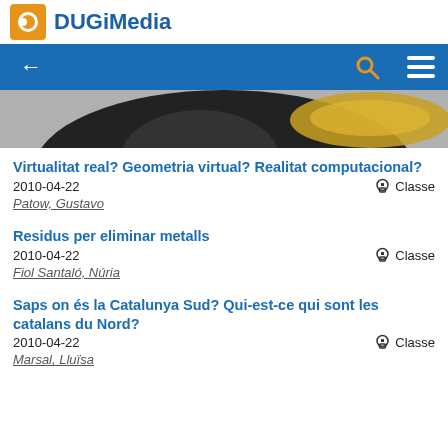DUGiMedia
[Figure (screenshot): Partial view of a dark circular object with yellow/gold highlight, likely a camera lens or similar device, partially visible at top of content area]
Virtualitat real? Geometria virtual? Realitat computacional?
2010-04-22   Classe
Patow, Gustavo
Residus per eliminar metalls
2010-04-22   Classe
Fiol Santaló, Núria
Saps on és la Catalunya Sud? Qui-est-ce qui sont les catalans du Nord?
2010-04-22   Classe
Marsal, Lluïsa